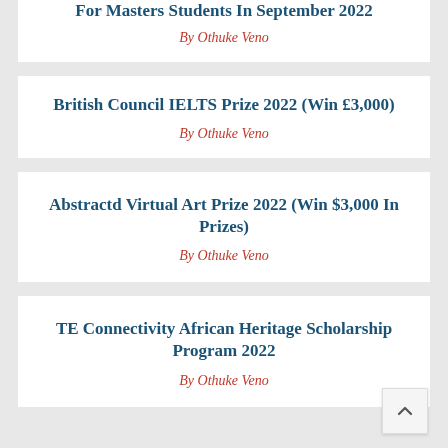For Masters Students In September 2022
By Othuke Veno
British Council IELTS Prize 2022 (Win £3,000)
By Othuke Veno
Abstractd Virtual Art Prize 2022 (Win $3,000 In Prizes)
By Othuke Veno
TE Connectivity African Heritage Scholarship Program 2022
By Othuke Veno